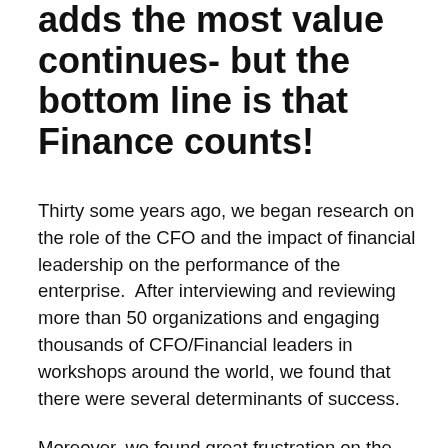adds the most value continues- but the bottom line is that Finance counts!
Thirty some years ago, we began research on the role of the CFO and the impact of financial leadership on the performance of the enterprise.  After interviewing and reviewing more than 50 organizations and engaging thousands of CFO/Financial leaders in workshops around the world, we found that there were several determinants of success.
Moreover, we found great frustration on the part of CFO's wanting a seat at the “business management/Strategy table” and the rest of leadership questioning why they needed/should have that seat.  While that conversation continues, the more we gain insight to the Vince Capital...